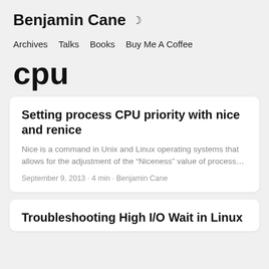Benjamin Cane
Archives  Talks  Books  Buy Me A Coffee
cpu
Setting process CPU priority with nice and renice
Nice is a command in Unix and Linux operating systems that allows for the adjustment of the “Niceness” value of process…
September 9, 2013 · 4 min · Benjamin Cane
Troubleshooting High I/O Wait in Linux